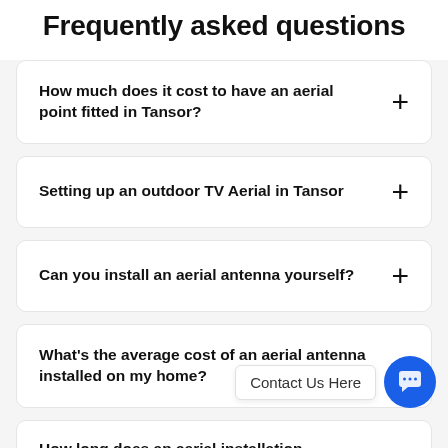Frequently asked questions
How much does it cost to have an aerial point fitted in Tansor?
Setting up an outdoor TV Aerial in Tansor
Can you install an aerial antenna yourself?
What's the average cost of an aerial antenna installed on my home?
How long does an aerial installation
Contact Us Here